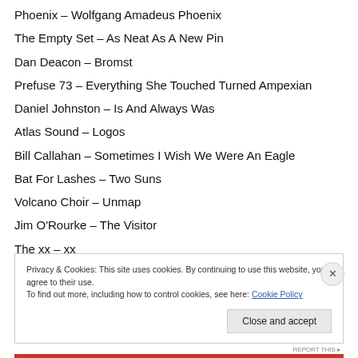Phoenix – Wolfgang Amadeus Phoenix
The Empty Set – As Neat As A New Pin
Dan Deacon – Bromst
Prefuse 73 – Everything She Touched Turned Ampexian
Daniel Johnston – Is And Always Was
Atlas Sound – Logos
Bill Callahan – Sometimes I Wish We Were An Eagle
Bat For Lashes – Two Suns
Volcano Choir – Unmap
Jim O'Rourke – The Visitor
The xx – xx
Privacy & Cookies: This site uses cookies. By continuing to use this website, you agree to their use. To find out more, including how to control cookies, see here: Cookie Policy
Close and accept